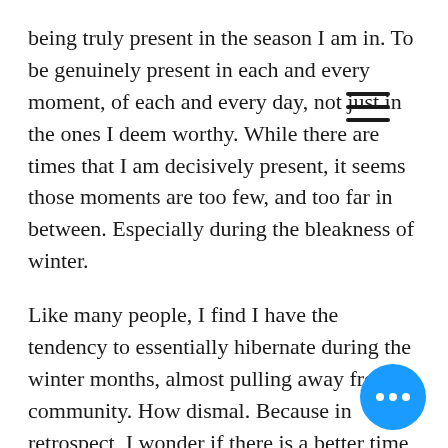being truly present in the season I am in. To be genuinely present in each and every moment, of each and every day, not just in the ones I deem worthy. While there are times that I am decisively present, it seems those moments are too few, and too far in between. Especially during the bleakness of winter.

Like many people, I find I have the tendency to essentially hibernate during the winter months, almost pulling away from community. How dismal. Because in retrospect, I wonder if there is a better time than winter, to take advantage of the opportunity to cultivate intimacy that each of us so greatly desires. When the days are cold